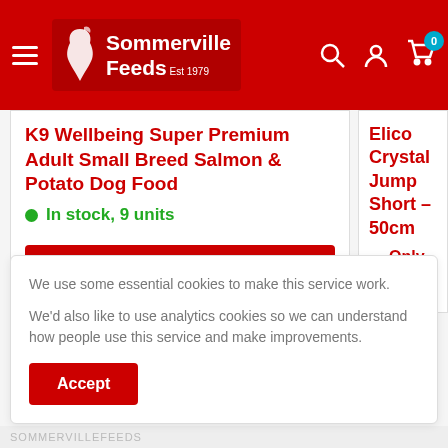Sommerville Feeds
K9 Wellbeing Super Premium Adult Small Breed Salmon & Potato Dog Food
In stock, 9 units
Choose options
Elico Crystal Jump Short – 50cm
Only 1 unit left
Add to
We use some essential cookies to make this service work.

We'd also like to use analytics cookies so we can understand how people use this service and make improvements.
Accept